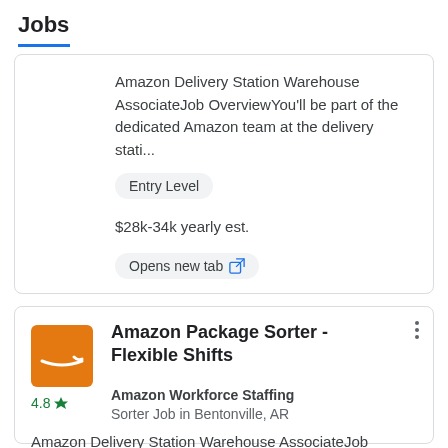Jobs
Amazon Delivery Station Warehouse AssociateJob OverviewYou'll be part of the dedicated Amazon team at the delivery stati...
Entry Level
$28k-34k yearly est.
Opens new tab
Amazon Package Sorter - Flexible Shifts
Amazon Workforce Staffing
Sorter Job in Bentonville, AR
4.8 ★
Amazon Delivery Station Warehouse AssociateJob OverviewYou'll be part of the dedicated Amazon team at the delivery stati...